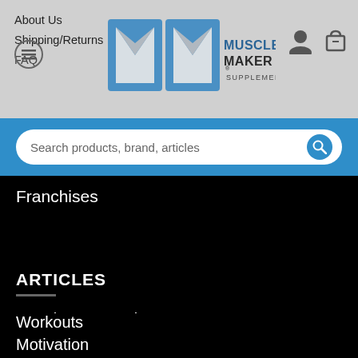About Us
Shipping/Returns
FAQ
[Figure (logo): Muscle Maker Supplements logo with two M letters and text]
Search products, brand, articles
Franchises
ARTICLES
Supplement Reviews
Supplement Breakdowns
Fitness FAQS
Workouts
Motivation